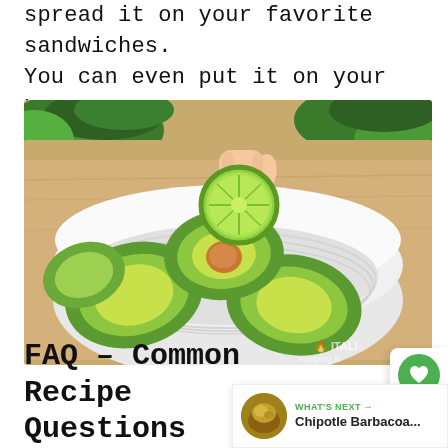spoon some onto tacos and burritos or spread it on your favorite sandwiches. You can even put it on your burgers!
[Figure (photo): A white bowl containing sliced avocados and a hand holding a halved lime over the bowl, with cilantro in the background, on a wooden surface. A watermark reads 'Keeping It ITALI'.]
FAQ – Common Recipe Questions